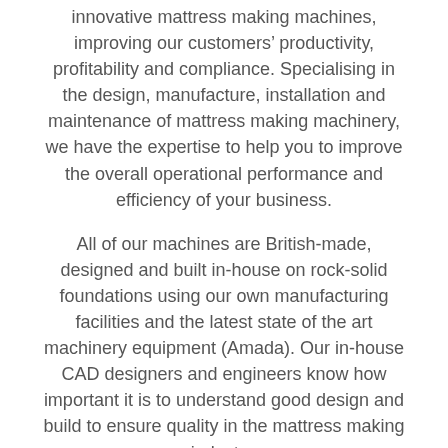innovative mattress making machines, improving our customers' productivity, profitability and compliance. Specialising in the design, manufacture, installation and maintenance of mattress making machinery, we have the expertise to help you to improve the overall operational performance and efficiency of your business.
All of our machines are British-made, designed and built in-house on rock-solid foundations using our own manufacturing facilities and the latest state of the art machinery equipment (Amada). Our in-house CAD designers and engineers know how important it is to understand good design and build to ensure quality in the mattress making industry.
Our current mattress and foam processing machinery products include Tape Edge, Tufting, Tacking, Fabric